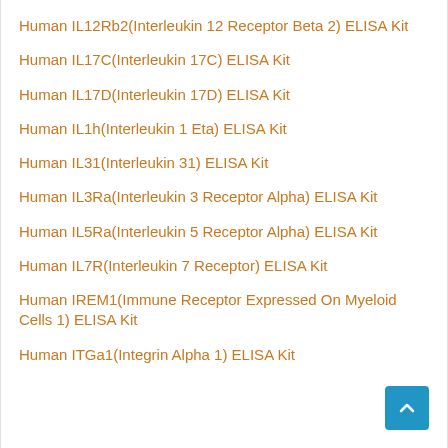Human IL12Rb2(Interleukin 12 Receptor Beta 2) ELISA Kit
Human IL17C(Interleukin 17C) ELISA Kit
Human IL17D(Interleukin 17D) ELISA Kit
Human IL1h(Interleukin 1 Eta) ELISA Kit
Human IL31(Interleukin 31) ELISA Kit
Human IL3Ra(Interleukin 3 Receptor Alpha) ELISA Kit
Human IL5Ra(Interleukin 5 Receptor Alpha) ELISA Kit
Human IL7R(Interleukin 7 Receptor) ELISA Kit
Human IREM1(Immune Receptor Expressed On Myeloid Cells 1) ELISA Kit
Human ITGa1(Integrin Alpha 1) ELISA Kit